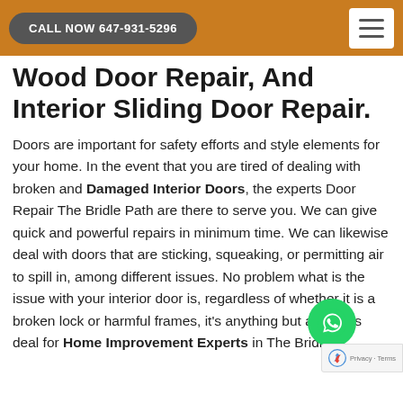CALL NOW 647-931-5296
Wood Door Repair, And Interior Sliding Door Repair.
Doors are important for safety efforts and style elements for your home. In the event that you are tired of dealing with broken and Damaged Interior Doors, the experts Door Repair The Bridle Path are there to serve you. We can give quick and powerful repairs in minimum time. We can likewise deal with doors that are sticking, squeaking, or permitting air to spill in, among different issues. No problem what is the issue with your interior door is, regardless of whether it is a broken lock or harm frames, it's anything but a serious deal for Home Improvement Experts in The Bridle